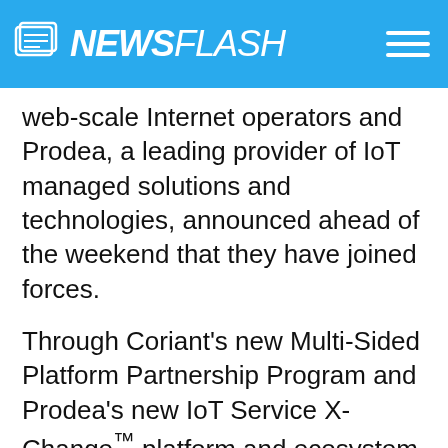NEWSFLASH
web-scale Internet operators and Prodea, a leading provider of IoT managed solutions and technologies, announced ahead of the weekend that they have joined forces.
Through Coriant's new Multi-Sided Platform Partnership Program and Prodea's new IoT Service X-Change™ platform and ecosystem this partnership will accelerate global adoption of IoT services by simplifying go-to-market deployment across multiple vertical markets.
Prodea's IoT Service X-Change is a platform